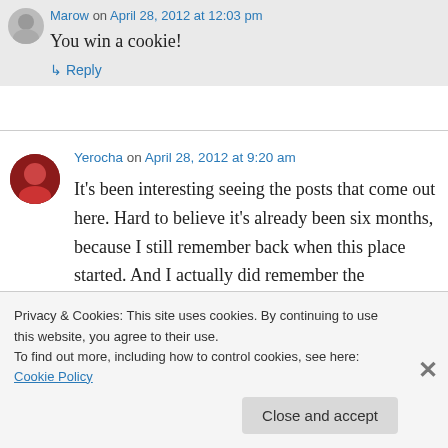Marow on April 28, 2012 at 12:03 pm
You win a cookie!
↳ Reply
Yerocha on April 28, 2012 at 9:20 am
It's been interesting seeing the posts that come out here. Hard to believe it's already been six months, because I still remember back when this place started. And I actually did remember the
Privacy & Cookies: This site uses cookies. By continuing to use this website, you agree to their use.
To find out more, including how to control cookies, see here: Cookie Policy
Close and accept